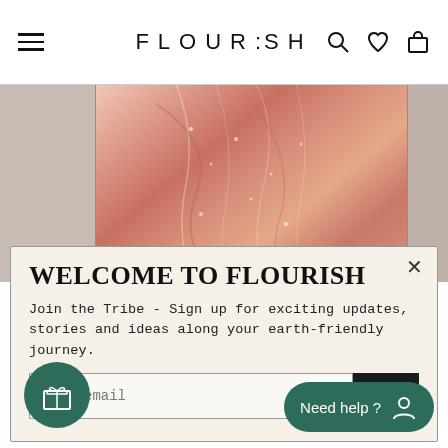FLOURISH
[Figure (photo): Close-up of a person holding a draped salmon/peach-colored fabric or garment, with white fabric/cushion visible in the background]
WELCOME TO FLOURISH
Join the Tribe - Sign up for exciting updates, stories and ideas along your earth-friendly journey.
your email